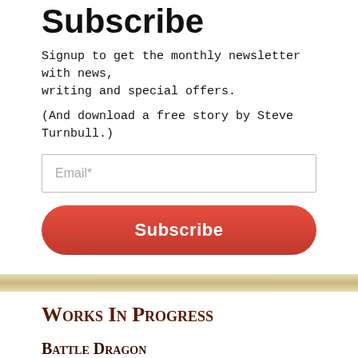Subscribe
Signup to get the monthly newsletter with news, writing and special offers.
(And download a free story by Steve Turnbull.)
Email*
Subscribe
Works In Progress
Battle Dragon
[Figure (infographic): A progress bar with a dark navy blue border and golden/yellow fill, nearly completely filled, indicating near-completion of the Battle Dragon work in progress.]